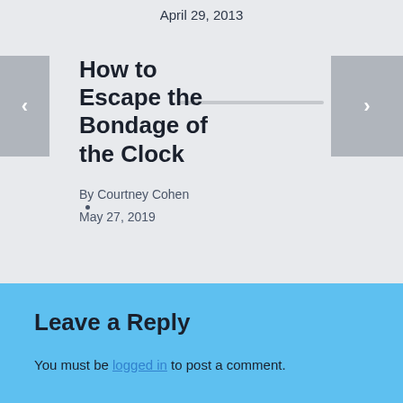April 29, 2013
How to Escape the Bondage of the Clock
By Courtney Cohen
May 27, 2019
Leave a Reply
You must be logged in to post a comment.